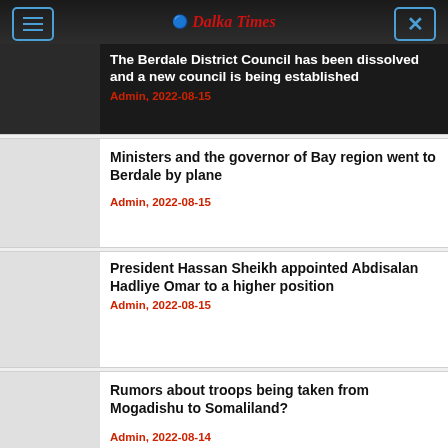Dalka Times
The Berdale District Council has been dissolved and a new council is being established
Admin, 2022-08-15
Ministers and the governor of Bay region went to Berdale by plane
Admin, 2022-08-15
President Hassan Sheikh appointed Abdisalan Hadliye Omar to a higher position
Admin, 2022-08-15
Rumors about troops being taken from Mogadishu to Somaliland?
Admin, 2022-08-14
Robow unveiled many people who tried to become associated